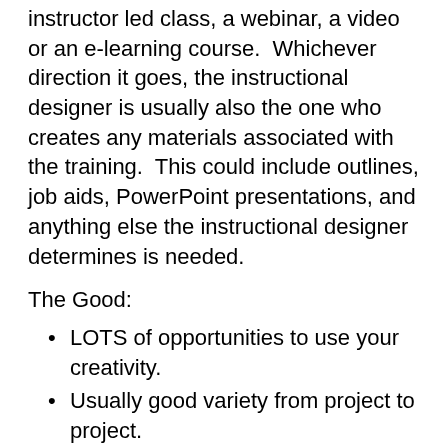instructor led class, a webinar, a video or an e-learning course.  Whichever direction it goes, the instructional designer is usually also the one who creates any materials associated with the training.  This could include outlines, job aids, PowerPoint presentations, and anything else the instructional designer determines is needed.
The Good:
LOTS of opportunities to use your creativity.
Usually good variety from project to project.
Great opportunities to learn new information as you develop training.
The Bad: